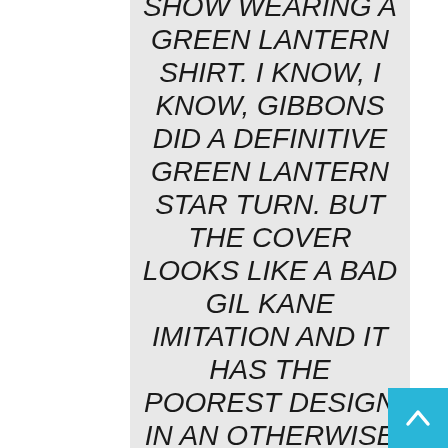SHOW WEARING A GREEN LANTERN SHIRT. I KNOW, I KNOW, GIBBONS DID A DEFINITIVE GREEN LANTERN STAR TURN. BUT THE COVER LOOKS LIKE A BAD GIL KANE IMITATION AND IT HAS THE POOREST DESIGN IN AN OTHERWISE FLAWLESSLY DESIGNED HOW TO DRAW COMICS